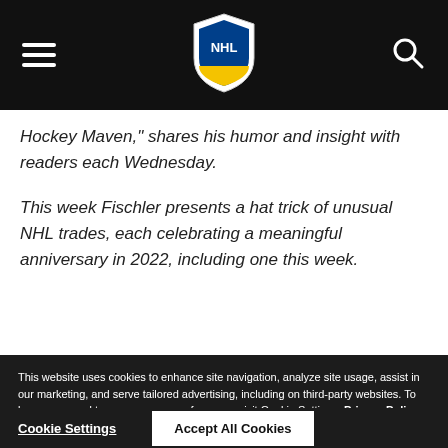NHL navigation bar with hamburger menu, NHL logo, and search icon
Hockey Maven," shares his humor and insight with readers each Wednesday.
This week Fischler presents a hat trick of unusual NHL trades, each celebrating a meaningful anniversary in 2022, including one this week.
This website uses cookies to enhance site navigation, analyze site usage, assist in our marketing, and serve tailored advertising, including on third-party websites. To learn more and to manage your preferences, visit Cookie Settings. Privacy Policy
Cookie Settings
Accept All Cookies